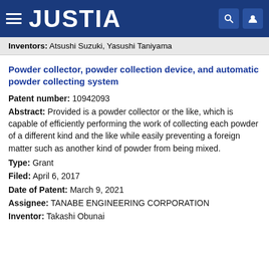JUSTIA
Inventors: Atsushi Suzuki, Yasushi Taniyama
Powder collector, powder collection device, and automatic powder collecting system
Patent number: 10942093
Abstract: Provided is a powder collector or the like, which is capable of efficiently performing the work of collecting each powder of a different kind and the like while easily preventing a foreign matter such as another kind of powder from being mixed.
Type: Grant
Filed: April 6, 2017
Date of Patent: March 9, 2021
Assignee: TANABE ENGINEERING CORPORATION
Inventor: Takashi Obunai